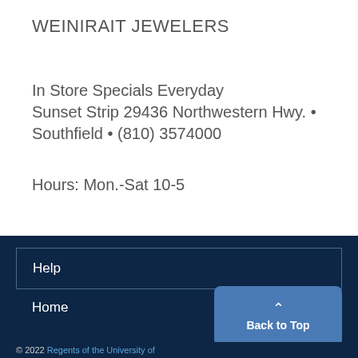WEINIRAIT JEWELERS
In Store Specials Everyday
Sunset Strip 29436 Northwestern Hwy. • Southfield • (810) 3574000
Hours: Mon.-Sat 10-5
Help
Home
© 2022 Regents of the University of